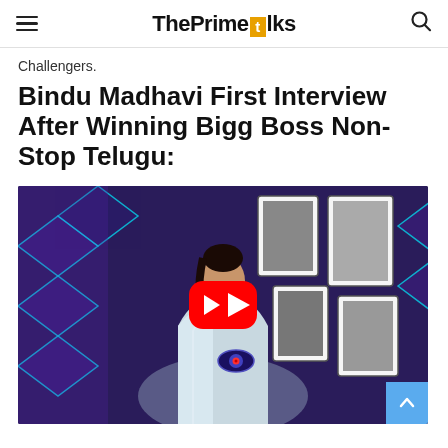ThePrimeTalks
Challengers.
Bindu Madhavi First Interview After Winning Bigg Boss Non-Stop Telugu:
[Figure (screenshot): YouTube video thumbnail showing a woman in a white sequined saree smiling, with a decorative studio set behind her featuring framed photos and diamond-shaped LED lights. A large red YouTube play button is overlaid in the center. A Bigg Boss eye logo is visible on her saree. A blue scroll-to-top button appears in the bottom right.]